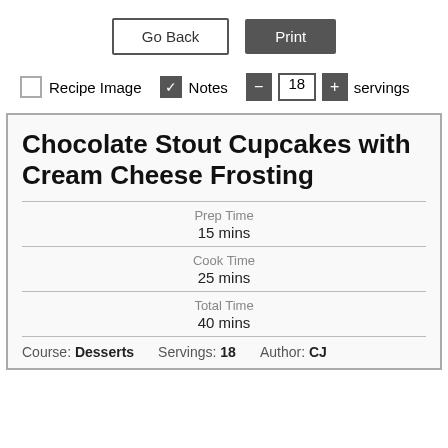Go Back | Print
Recipe Image  Notes  − 18 + servings
Chocolate Stout Cupcakes with Cream Cheese Frosting
Prep Time
15 mins
Cook Time
25 mins
Total Time
40 mins
Course: Desserts   Servings: 18   Author: CJ